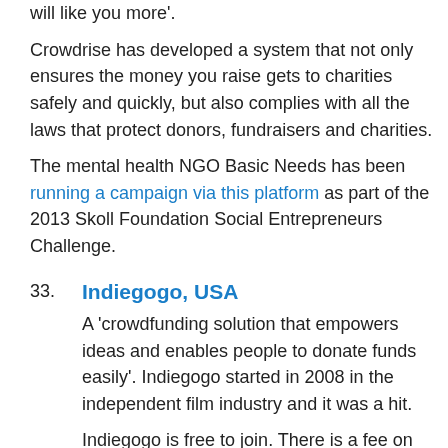will like you more'.
Crowdrise has developed a system that not only ensures the money you raise gets to charities safely and quickly, but also complies with all the laws that protect donors, fundraisers and charities.
The mental health NGO Basic Needs has been running a campaign via this platform as part of the 2013 Skoll Foundation Social Entrepreneurs Challenge.
33. Indiegogo, USA
A ‘crowdfunding solution that empowers ideas and enables people to donate funds easily’. Indiegogo started in 2008 in the independent film industry and it was a hit.
Indiegogo is free to join. There is a fee on any money that is raised, which is 4% of the money you raise if you meet your goal or 9% if you do not meet your goal.